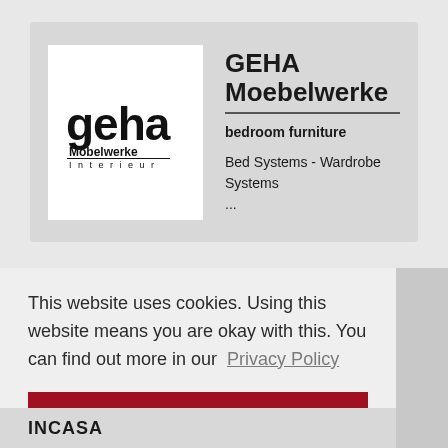[Figure (logo): GEHA Möbelwerke Interieur logo — black wordmark with stylized 'geha' text and 'Möbelwerke Interieur' below in a rectangular box]
GEHA Moebelwerke
bedroom furniture
Bed Systems - Wardrobe Systems ...
This website uses cookies. Using this website means you are okay with this. You can find out more in our Privacy Policy
Ok
INCASA